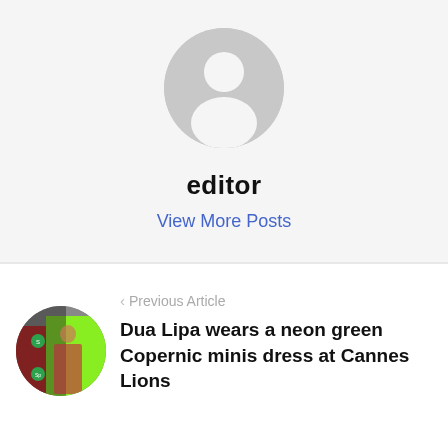[Figure (illustration): Generic user avatar icon — circular grey silhouette of a person on a light grey background]
editor
View More Posts
[Figure (photo): Circular thumbnail photo of a woman in a neon green and red outfit at a Spotify event]
‹ Previous Article
Dua Lipa wears a neon green Copernic minis dress at Cannes Lions